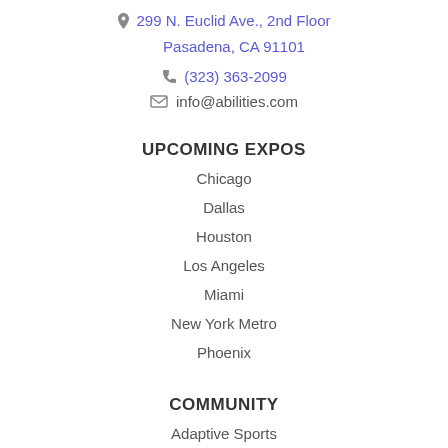299 N. Euclid Ave., 2nd Floor Pasadena, CA 91101
(323) 363-2099
info@abilities.com
UPCOMING EXPOS
Chicago
Dallas
Houston
Los Angeles
Miami
New York Metro
Phoenix
COMMUNITY
Adaptive Sports
Assistive Technology